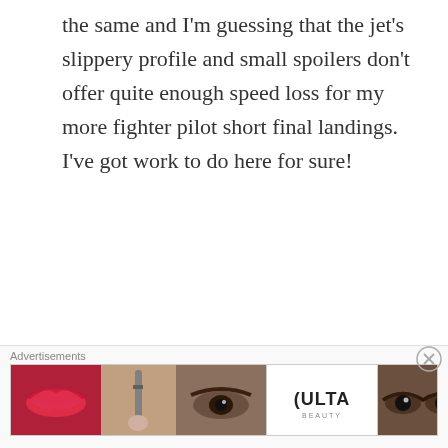the same and I'm guessing that the jet's slippery profile and small spoilers don't offer quite enough speed loss for my more fighter pilot short final landings. I've got work to do here for sure!
I was initially uncertain if the skin quality was as high as it should be because it seems to lack a roughmet and appeared to have no gloss but in the setting sun the aircraft looked impressive and it's likely either my settings or a choice by the developers to offer a slightly less glossy looking aircraft. Also, X-Plane does lack some of
Advertisements
[Figure (photo): Ulta Beauty advertisement banner showing close-up beauty images: lips with red lipstick, makeup brush, eye with eyebrow, Ulta Beauty logo, eyes with dramatic makeup, and SHOP NOW call to action button.]